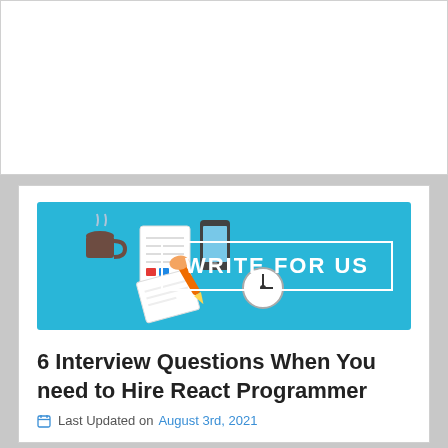[Figure (illustration): Blue banner with writing/office icons on the left and 'WRITE FOR US' text in a white rectangle border on the right]
6 Interview Questions When You need to Hire React Programmer
Last Updated on August 3rd, 2021